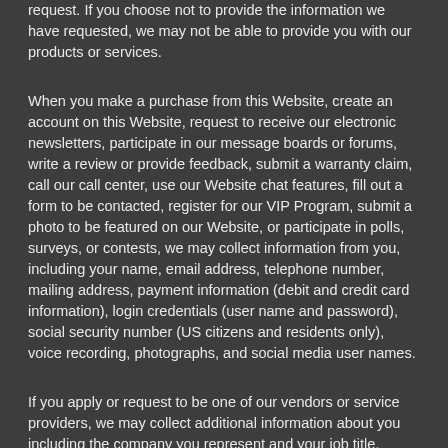request. If you choose not to provide the information we have requested, we may not be able to provide you with our products or services.
When you make a purchase from this Website, create an account on this Website, request to receive our electronic newsletters, participate in our message boards or forums, write a review or provide feedback, submit a warranty claim, call our call center, use our Website chat features, fill out a form to be contacted, register for our VIP Program, submit a photo to be featured on our Website, or participate in polls, surveys, or contests, we may collect information from you, including your name, email address, telephone number, mailing address, payment information (debit and credit card information), login credentials (user name and password), social security number (US citizens and residents only), voice recording, photographs, and social media user names.
If you apply or request to be one of our vendors or service providers, we may collect additional information about you including the company you represent and your job title.
If you apply or request to be one of our affiliates, brand ambassadors, influencers, or a business sales partner...